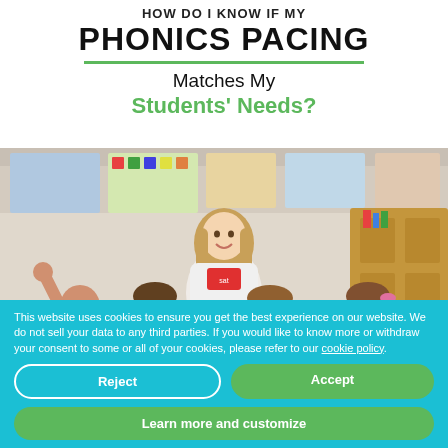HOW DO I KNOW IF MY PHONICS PACING Matches My Students' Needs?
[Figure (photo): A smiling female teacher holds a red flashcard while seated in front of a group of young elementary school children in a colorful classroom. One child has their hand raised. There are shelves and bulletin boards visible in the background.]
This website uses cookies to ensure you get the best experience on our website. We do not sell your data to any third parties. If you would like to know more or withdraw your consent to some or all of your cookies, please refer to our cookie policy.
Reject
Accept
Learn more and customize